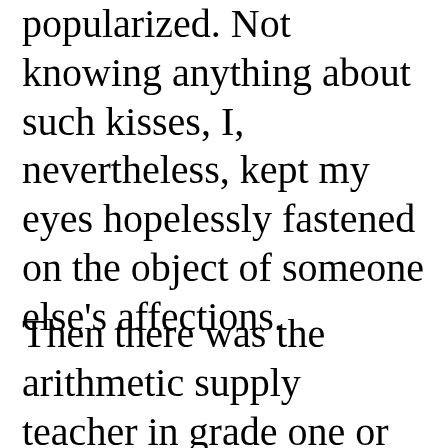popularized. Not knowing anything about such kisses, I, nevertheless, kept my eyes hopelessly fastened on the object of someone else's affections.
Then there was the arithmetic supply teacher in grade one or two. "No